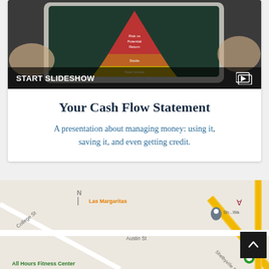[Figure (photo): Photo of a tablet displaying a pyramid/funnel chart labeled 'Risk vs Potential Return', held by hands on a dark background, with a 'START SLIDESHOW' bar overlay at the bottom]
Your Cash Flow Statement
A presentation about managing money: using it, saving it, and even getting credit.
[Figure (map): Google Maps screenshot showing street map with Las Margaritas, Austin St, College St, Shelbyville St, All Hours Fitness Center markers visible, with a scroll-to-top button overlay]